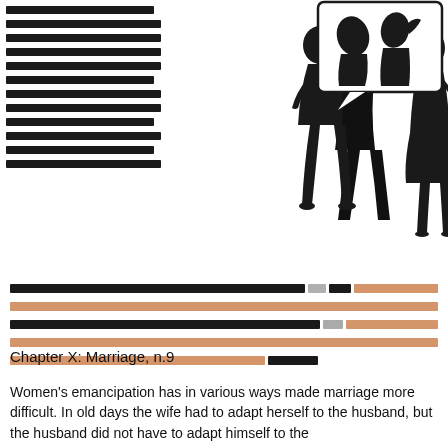[Figure (illustration): Two silhouette figures arguing — a man pointing at a woman who points back. The woman has a thought bubble showing a couple kissing. Redacted text lines appear to the left of the figures.]
[redacted text lines covering the full-width paragraph block]
Chapter X: Marriage, n.9
Women's emancipation has in various ways made marriage more difficult. In old days the wife had to adapt herself to the husband, but the husband did not have to adapt himself to the